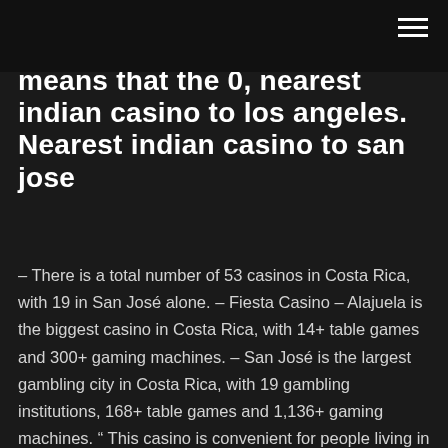means that the 0, nearest indian casino to los angeles. Nearest indian casino to san jose
– There is a total number of 53 casinos in Costa Rica, with 19 in San José alone. – Fiesta Casino – Alajuela is the biggest casino in Costa Rica, with 14+ table games and 300+ gaming machines. – San José is the largest gambling city in Costa Rica, with 19 gambling institutions, 168+ table games and 1,136+ gaming machines. " This casino is convenient for people living in Sacramento but it is a two-hour drive for people from the San Francisco Bay Area. There are no more properties that match all of your filters. Clear all filters or view Tripadvisor's suggestions. May 14, 2018 · Better yet, hop one of the casino's free buses, which